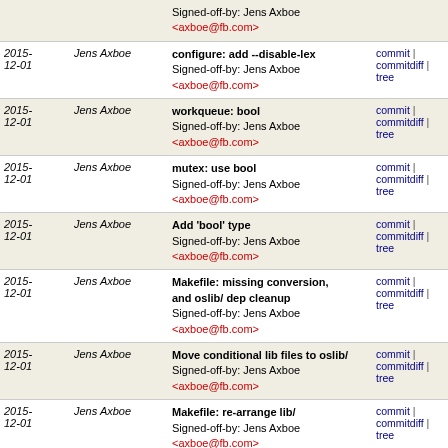| Date | Author | Commit | Links |
| --- | --- | --- | --- |
|  |  | Signed-off-by: Jens Axboe <axboe@fb.com> |  |
| 2015-12-01 | Jens Axboe | configure: add --disable-lex
Signed-off-by: Jens Axboe <axboe@fb.com> | commit | commitdiff | tree |
| 2015-12-01 | Jens Axboe | workqueue: bool
Signed-off-by: Jens Axboe <axboe@fb.com> | commit | commitdiff | tree |
| 2015-12-01 | Jens Axboe | mutex: use bool
Signed-off-by: Jens Axboe <axboe@fb.com> | commit | commitdiff | tree |
| 2015-12-01 | Jens Axboe | Add 'bool' type
Signed-off-by: Jens Axboe <axboe@fb.com> | commit | commitdiff | tree |
| 2015-12-01 | Jens Axboe | Makefile: missing conversion, and oslib/ dep cleanup
Signed-off-by: Jens Axboe <axboe@fb.com> | commit | commitdiff | tree |
| 2015-12-01 | Jens Axboe | Move conditional lib files to oslib/
Signed-off-by: Jens Axboe <axboe@fb.com> | commit | commitdiff | tree |
| 2015-12-01 | Jens Axboe | Makefile: re-arrange lib/
Signed-off-by: Jens Axboe <axboe@fb.com> | commit | commitdiff | tree |
| 2015-12-01 | Jens Axboe | Move memalign to lib/
Signed-off-by: Jens Axboe <axboe@fb.com> | commit | commitdiff | tree |
| 2015- | Jens Axboe | stat: move header declarations | commit | |